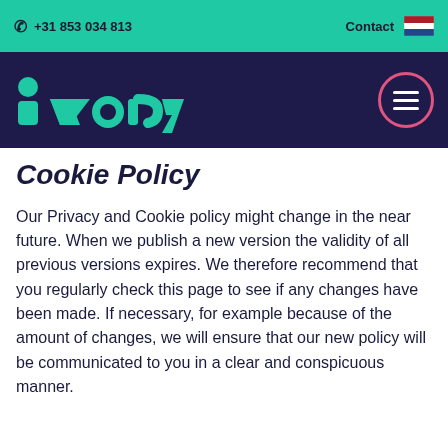+31 853 034 813   Contact
[Figure (logo): Ivory company logo in teal/green italic bold font on dark navy background, with hamburger menu button in pink circle outline]
Cookie Policy
Our Privacy and Cookie policy might change in the near future. When we publish a new version the validity of all previous versions expires. We therefore recommend that you regularly check this page to see if any changes have been made. If necessary, for example because of the amount of changes, we will ensure that our new policy will be communicated to you in a clear and conspicuous manner.